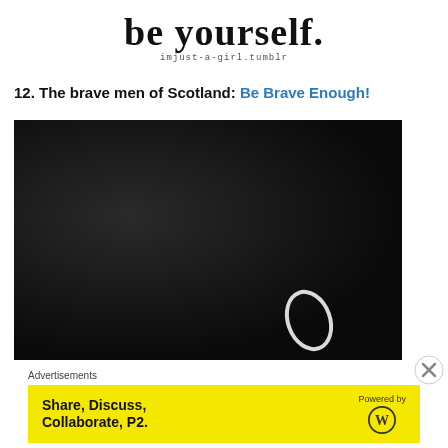[Figure (illustration): Large stylized text 'be yourself.' in bold serif font with 'imjust-a-girl.tumblr' in small monospace below]
12. The brave men of Scotland: Be Brave Enough!
[Figure (photo): Dark nearly black photograph with a white oval/ring shape visible in the lower right corner]
Advertisements
[Figure (other): Yellow advertisement banner: 'Share, Discuss, Collaborate, P2.' with 'Powered by' WordPress logo on the right]